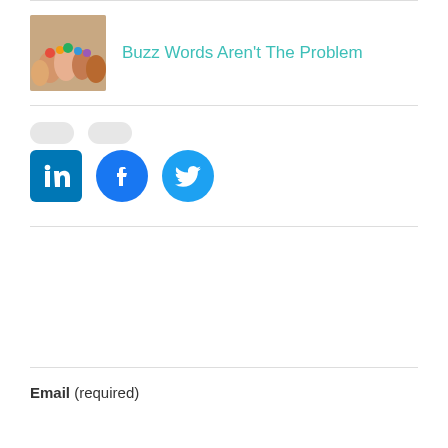[Figure (photo): Thumbnail image of people holding hands together, used as article preview image]
Buzz Words Aren't The Problem
[Figure (logo): LinkedIn, Facebook, and Twitter social media share icons]
Email (required)